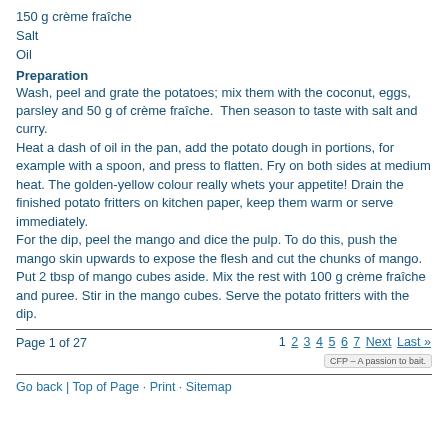150 g crème fraîche
Salt
Oil
Preparation
Wash, peel and grate the potatoes; mix them with the coconut, eggs, parsley and 50 g of crème fraîche.  Then season to taste with salt and curry.
Heat a dash of oil in the pan, add the potato dough in portions, for example with a spoon, and press to flatten. Fry on both sides at medium heat. The golden-yellow colour really whets your appetite! Drain the finished potato fritters on kitchen paper, keep them warm or serve immediately.
For the dip, peel the mango and dice the pulp. To do this, push the mango skin upwards to expose the flesh and cut the chunks of mango. Put 2 tbsp of mango cubes aside. Mix the rest with 100 g crème fraîche and puree. Stir in the mango cubes. Serve the potato fritters with the dip.
Page 1 of 27   1 2 3 4 5 6 7 Next Last »   CFP – A passion to bait.   Go back | Top of Page · Print · Sitemap